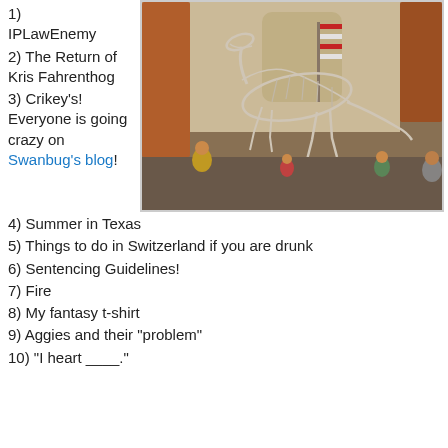1) IPLawEnemy
2) The Return of Kris Fahrenthog
3) Crikey's! Everyone is going crazy on Swanbug's blog!
[Figure (photo): A dinosaur skeleton exhibit in a museum hall with visitors in the background and a large column and American flag visible.]
4) Summer in Texas
5) Things to do in Switzerland if you are drunk
6) Sentencing Guidelines!
7) Fire
8) My fantasy t-shirt
9) Aggies and their "problem"
10) "I heart ____."
Here is mine:
Quick, call 911!